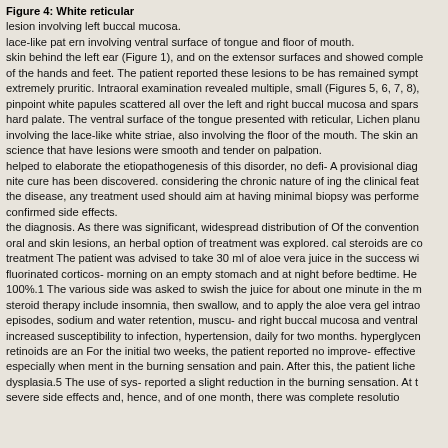Figure 4: White reticular lesion involving left buccal mucosa.
lace-like pat ern involving ventral surface of tongue and floor of mouth.
skin behind the left ear (Figure 1), and on the extensor surfaces and showed comple
of the hands and feet. The patient reported these lesions to be has remained sympt
extremely pruritic. Intraoral examination revealed multiple, small (Figures 5, 6, 7, 8),
pinpoint white papules scattered all over the left and right buccal mucosa and spars
hard palate. The ventral surface of the tongue presented with reticular, Lichen planu
involving the lace-like white striae, also involving the floor of the mouth. The skin an
science that have lesions were smooth and tender on palpation.
helped to elaborate the etiopathogenesis of this disorder, no defi- A provisional diag
nite cure has been discovered. considering the chronic nature of ing the clinical feat
the disease, any treatment used should aim at having minimal biopsy was performe
confirmed side effects.
the diagnosis. As there was significant, widespread distribution of Of the convention
oral and skin lesions, an herbal option of treatment was explored. cal steroids are co
treatment The patient was advised to take 30 ml of aloe vera juice in the success wi
fluorinated corticos- morning on an empty stomach and at night before bedtime. He
100%.1 The various side was asked to swish the juice for about one minute in the m
steroid therapy include insomnia, then swallow, and to apply the aloe vera gel intrao
episodes, sodium and water retention, muscu- and right buccal mucosa and ventral
increased susceptibility to infection, hypertension, daily for two months. hyperglyce
retinoids are an For the initial two weeks, the patient reported no improve- effective
especially when ment in the burning sensation and pain. After this, the patient liche
dysplasia.5 The use of sys- reported a slight reduction in the burning sensation. At t
severe side effects and, hence, and of one month, there was complete resolutio